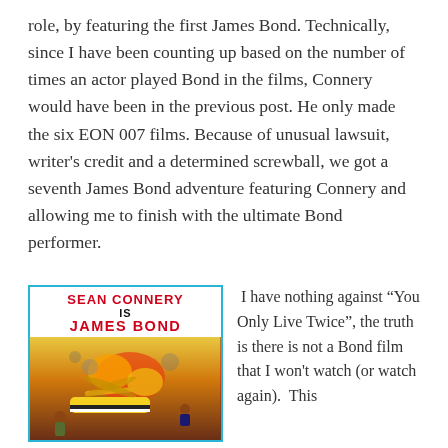role, by featuring the first James Bond. Technically, since I have been counting up based on the number of times an actor played Bond in the films, Connery would have been in the previous post. He only made the six EON 007 films. Because of unusual lawsuit, writer's credit and a determined screwball, we got a seventh James Bond adventure featuring Connery and allowing me to finish with the ultimate Bond performer.
[Figure (photo): Movie poster for 'Sean Connery is James Bond' featuring action scene with gyrocopter and figures]
I have nothing against “You Only Live Twice”, the truth is there is not a Bond film that I won't watch (or watch again).  This